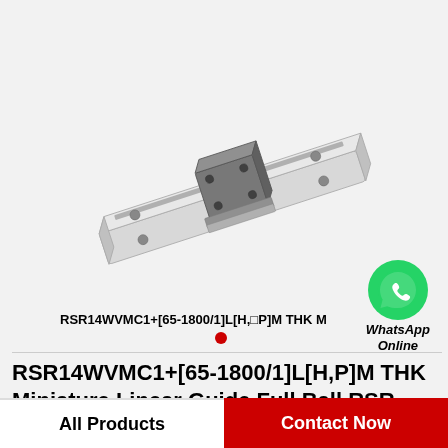[Figure (photo): THK RSR14WVMC1 miniature linear guide rail with ball slider block, shown in 3D perspective view on light gray background]
[Figure (logo): WhatsApp green circle logo with phone handset icon, labeled WhatsApp Online]
RSR14WVMC1+[65-1800/1]L[H,□P]M THK M
RSR14WVMC1+[65-1800/1]L[H,P]M THK Miniature Linear Guide Full Ball RSR Series
All Products
Contact Now